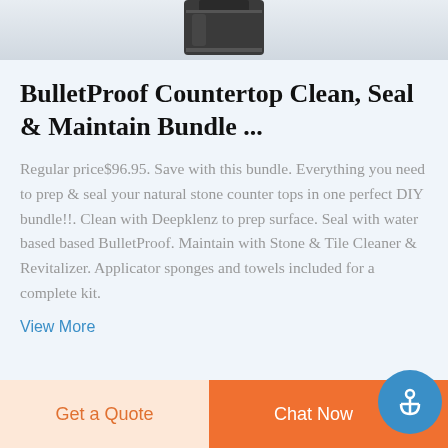[Figure (photo): Partial view of a dark-colored product container/bottle at the top of the page]
BulletProof Countertop Clean, Seal & Maintain Bundle ...
Regular price$96.95. Save with this bundle. Everything you need to prep & seal your natural stone counter tops in one perfect DIY bundle!!. Clean with Deepklenz to prep surface. Seal with water based based BulletProof. Maintain with Stone & Tile Cleaner & Revitalizer. Applicator sponges and towels included for a complete kit.
View More